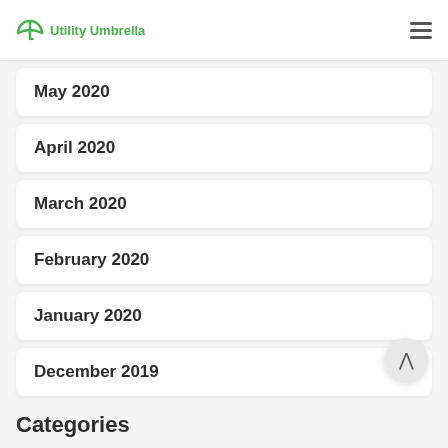Utility Umbrella
May 2020
April 2020
March 2020
February 2020
January 2020
December 2019
Categories